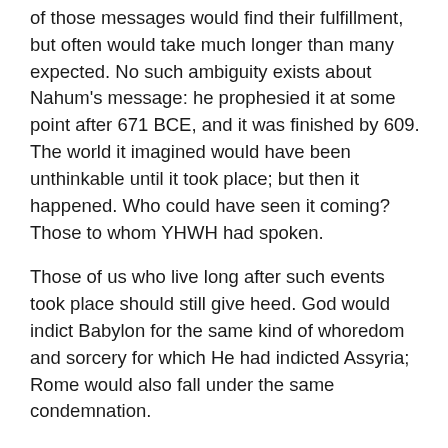of those messages would find their fulfillment, but often would take much longer than many expected. No such ambiguity exists about Nahum's message: he prophesied it at some point after 671 BCE, and it was finished by 609. The world it imagined would have been unthinkable until it took place; but then it happened. Who could have seen it coming? Those to whom YHWH had spoken.
Those of us who live long after such events took place should still give heed. God would indict Babylon for the same kind of whoredom and sorcery for which He had indicted Assyria; Rome would also fall under the same condemnation.
We can therefore see a trend at work. Powerful rulers over prosperous and successful empires frequently boast of their great exploits and endurance. Their cities glisten with wealth and the fruit of power and prosperity. Everything looks stable; people expect things to continue as they have in the past.
But then, all of a sudden, disaster strikes. Difficulties which have been manifest for those who had eyes to see now undermine the presumed strength of the nation. Collapse, destruction, and devastation may come quickly and thoroughly; it may be drawn